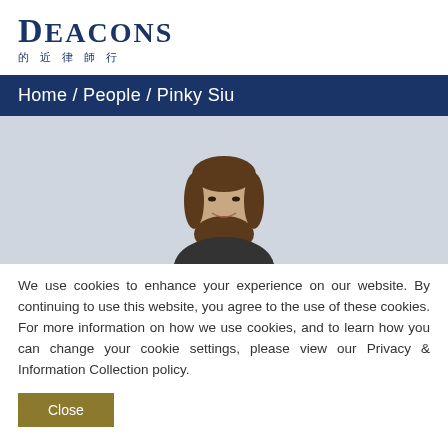[Figure (logo): Deacons law firm logo with English name 'DEACONS' in serif font and Chinese characters '的 近 律 師 行' below]
Home / People / Pinky Siu
[Figure (photo): Professional headshot photo of Pinky Siu, a woman with brown hair, smiling, against a light grey background]
We use cookies to enhance your experience on our website. By continuing to use this website, you agree to the use of these cookies. For more information on how we use cookies, and to learn how you can change your cookie settings, please view our Privacy & Information Collection policy.
Close